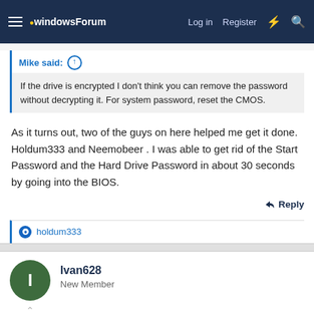windowsForum — Log in  Register
Mike said: ↑
If the drive is encrypted I don't think you can remove the password without decrypting it. For system password, reset the CMOS.
As it turns out, two of the guys on here helped me get it done. Holdum333 and Neemobeer . I was able to get rid of the Start Password and the Hard Drive Password in about 30 seconds by going into the BIOS.
Reply
holdum333
Ivan628
New Member
May 16, 2016  #26